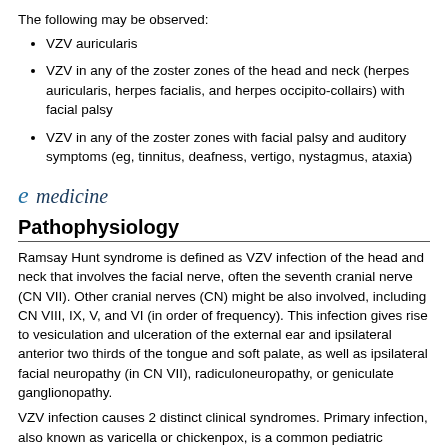The following may be observed:
VZV auricularis
VZV in any of the zoster zones of the head and neck (herpes auricularis, herpes facialis, and herpes occipito-collairs) with facial palsy
VZV in any of the zoster zones with facial palsy and auditory symptoms (eg, tinnitus, deafness, vertigo, nystagmus, ataxia)
[Figure (logo): eMedicine logo with stylized italic 'e' in blue followed by 'medicine' text]
Pathophysiology
Ramsay Hunt syndrome is defined as VZV infection of the head and neck that involves the facial nerve, often the seventh cranial nerve (CN VII). Other cranial nerves (CN) might be also involved, including CN VIII, IX, V, and VI (in order of frequency). This infection gives rise to vesiculation and ulceration of the external ear and ipsilateral anterior two thirds of the tongue and soft palate, as well as ipsilateral facial neuropathy (in CN VII), radiculoneuropathy, or geniculate ganglionopathy.
VZV infection causes 2 distinct clinical syndromes. Primary infection, also known as varicella or chickenpox, is a common pediatric erythematous disease characterized by a highly contagious generalized vesicular rash. The annual incidence of varicella infection has significantly declined after the introduction of mass vaccination programs in most countries of the world.[3]
After chickenpox, VZV remain latent in neurons of cranial nerve and dorsal